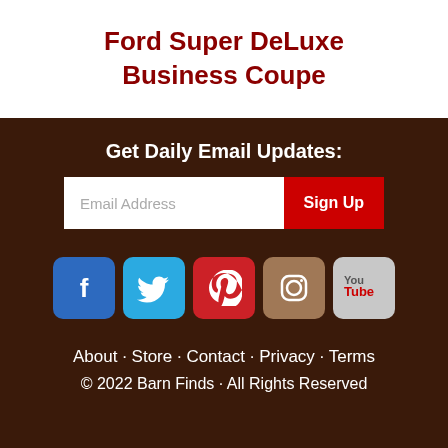Ford Super DeLuxe Business Coupe
Get Daily Email Updates:
[Figure (other): Email signup form with Email Address input and Sign Up button]
[Figure (other): Social media icons: Facebook, Twitter, Pinterest, Instagram, YouTube]
About · Store · Contact · Privacy · Terms
© 2022 Barn Finds · All Rights Reserved